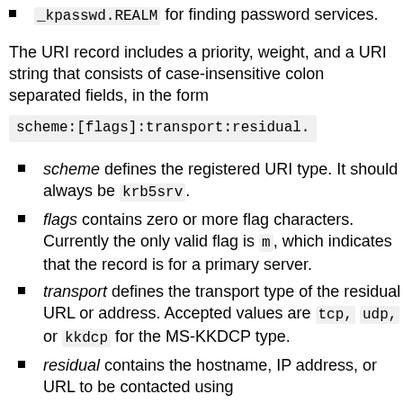_kpasswd.REALM for finding password services.
The URI record includes a priority, weight, and a URI string that consists of case-insensitive colon separated fields, in the form
scheme defines the registered URI type. It should always be krb5srv.
flags contains zero or more flag characters. Currently the only valid flag is m, which indicates that the record is for a primary server.
transport defines the transport type of the residual URL or address. Accepted values are tcp, udp, or kkdcp for the MS-KKDCP type.
residual contains the hostname, IP address, or URL to be contacted using